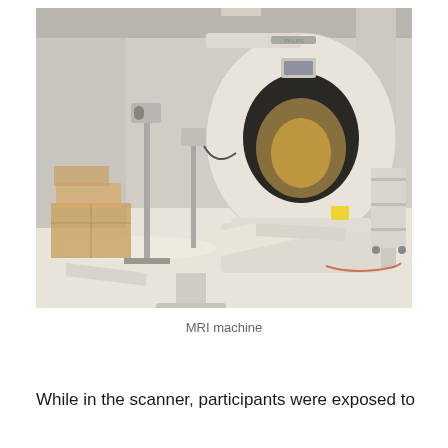[Figure (photo): Photograph of an MRI machine (Philips brand) in a medical scanning room. The large white donut-shaped MRI scanner is center-right, with a patient table/bed extending forward. To the left are medical equipment stands and cardboard boxes. The room has white walls and light-colored flooring.]
MRI machine
While in the scanner, participants were exposed to